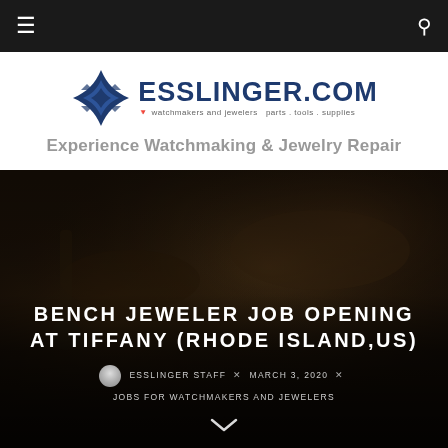≡  [ESSLINGER.COM logo] Experience Watchmaking & Jewelry Repair  🔍
[Figure (logo): Esslinger.com logo with diamond/star emblem and tagline 'watchmakers and jewelers parts . tools . supplies']
Experience Watchmaking & Jewelry Repair
[Figure (photo): Darkened background image of jeweler hands working at a bench]
BENCH JEWELER JOB OPENING AT TIFFANY (RHODE ISLAND,US)
ESSLINGER STAFF  ×  MARCH 3, 2020  ×  JOBS FOR WATCHMAKERS AND JEWELERS